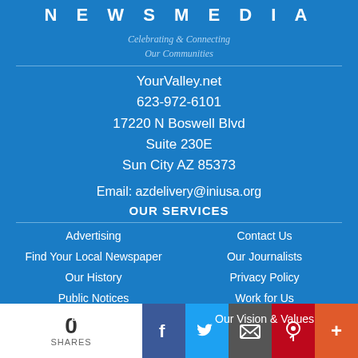N E W S M E D I A
Celebrating & Connecting
Our Communities
YourValley.net
623-972-6101
17220 N Boswell Blvd
Suite 230E
Sun City AZ 85373
Email: azdelivery@iniusa.org
OUR SERVICES
Advertising
Find Your Local Newspaper
Our History
Public Notices
About Us
Contact Us
Our Journalists
Privacy Policy
Work for Us
Our Vision & Values
0 SHARES